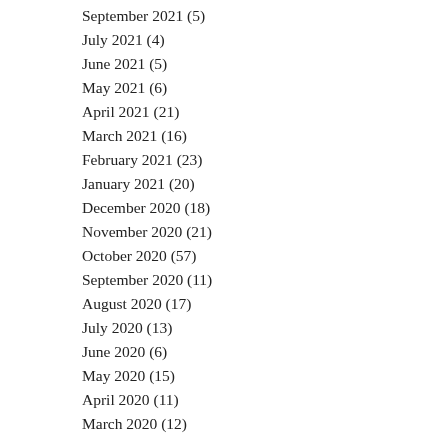September 2021 (5)
July 2021 (4)
June 2021 (5)
May 2021 (6)
April 2021 (21)
March 2021 (16)
February 2021 (23)
January 2021 (20)
December 2020 (18)
November 2020 (21)
October 2020 (57)
September 2020 (11)
August 2020 (17)
July 2020 (13)
June 2020 (6)
May 2020 (15)
April 2020 (11)
March 2020 (12)